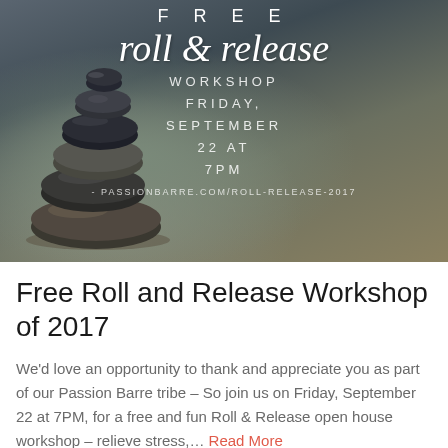[Figure (photo): Promotional image for Free Roll and Release Workshop showing stacked stones on sandy background with overlay text: FREE, roll & release, WORKSHOP FRIDAY, SEPTEMBER 22 AT 7PM, passionbarre.com/roll-release-2017]
Free Roll and Release Workshop of 2017
We'd love an opportunity to thank and appreciate you as part of our Passion Barre tribe – So join us on Friday, September 22 at 7PM, for a free and fun Roll & Release open house workshop – relieve stress,… Read More